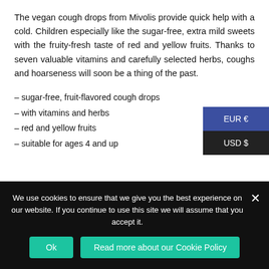The vegan cough drops from Mivolis provide quick help with a cold. Children especially like the sugar-free, extra mild sweets with the fruity-fresh taste of red and yellow fruits. Thanks to seven valuable vitamins and carefully selected herbs, coughs and hoarseness will soon be a thing of the past.
– sugar-free, fruit-flavored cough drops
– with vitamins and herbs
– red and yellow fruits
– suitable for ages 4 and up
We use cookies to ensure that we give you the best experience on our website. If you continue to use this site we will assume that you accept it.